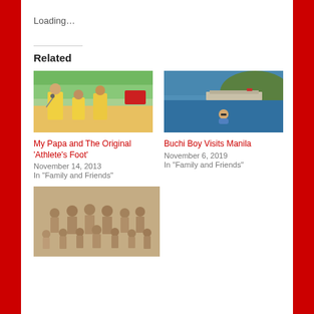Loading...
Related
[Figure (photo): Group of people outdoors with palm trees, wearing yellow shirts, one person holding a microphone]
My Papa and The Original ‘Athlete’s Foot’
November 14, 2013
In "Family and Friends"
[Figure (photo): Person swimming in the ocean near a rocky coastline with hills in background]
Buchi Boy Visits Manila
November 6, 2019
In "Family and Friends"
[Figure (photo): Old sepia photograph of a large family group, men women and children posed together]